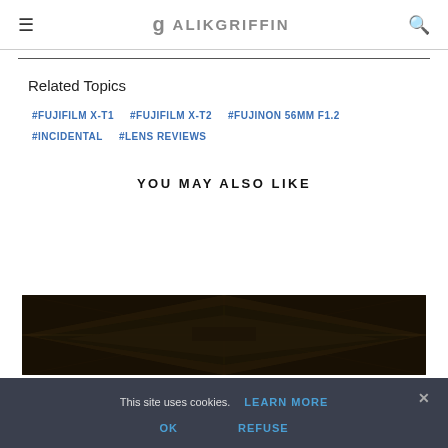≡  g ALIKGRIFFIN  🔍
Related Topics
#FUJIFILM X-T1
#FUJIFILM X-T2
#FUJINON 56MM F1.2
#INCIDENTAL
#LENS REVIEWS
YOU MAY ALSO LIKE
[Figure (photo): Dark architectural photo showing geometric ceiling or interior structure with angular lines and dark tones]
This site uses cookies.  LEARN MORE
OK   REFUSE